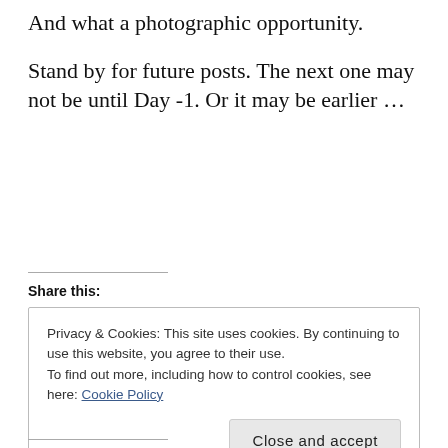And what a photographic opportunity.
Stand by for future posts.  The next one may not be until Day -1.  Or it may be earlier …
Share this:
Privacy & Cookies: This site uses cookies. By continuing to use this website, you agree to their use.
To find out more, including how to control cookies, see here: Cookie Policy
[Close and accept]